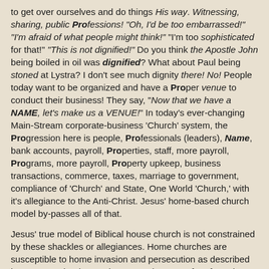to get over ourselves and do things His way. Witnessing, sharing, public Professions! "Oh, I'd be too embarrassed!" "I'm afraid of what people might think!" "I'm too sophisticated for that!" "This is not dignified!" Do you think the Apostle John being boiled in oil was dignified? What about Paul being stoned at Lystra? I don't see much dignity there! No! People today want to be organized and have a Proper venue to conduct their business! They say, "Now that we have a NAME, let's make us a VENUE!" In today's ever-changing Main-Stream corporate-business 'Church' system, the Progression here is people, Professionals (leaders), Name, bank accounts, payroll, Properties, staff, more payroll, Programs, more payroll, Property upkeep, business transactions, commerce, taxes, marriage to government, compliance of 'Church' and State, One World 'Church,' with it's allegiance to the Anti-Christ. Jesus' home-based church model by-passes all of that.
Jesus' true model of Biblical house church is not constrained by these shackles or allegiances. Home churches are susceptible to home invasion and persecution as described in Acts 8:3, that is true, but currently we are free from the